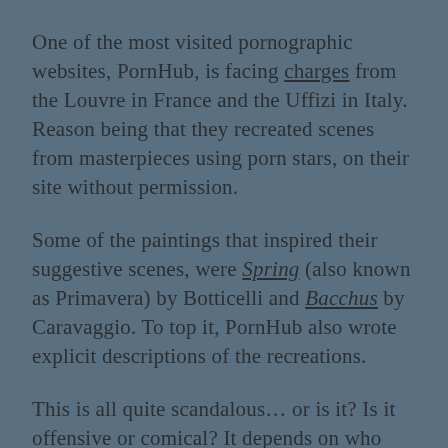One of the most visited pornographic websites, PornHub, is facing charges from the Louvre in France and the Uffizi in Italy. Reason being that they recreated scenes from masterpieces using porn stars, on their site without permission.
Some of the paintings that inspired their suggestive scenes, were Spring (also known as Primavera) by Botticelli and Bacchus by Caravaggio. To top it, PornHub also wrote explicit descriptions of the recreations.
This is all quite scandalous… or is it? Is it offensive or comical? It depends on who you ask. Nudity in art has been around for years…